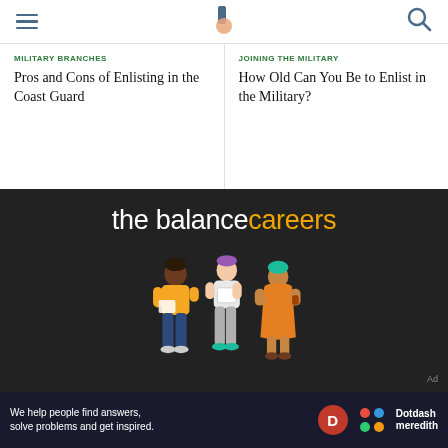the balance careers — navigation header
MILITARY BRANCHES
Pros and Cons of Enlisting in the Coast Guard
JOINING THE MILITARY
How Old Can You Be to Enlist in the Military?
[Figure (logo): the balance careers logo with white text for 'the balance' and orange text for 'careers', with three illustrated people below on dark background]
We help people find answers, solve problems and get inspired. Dotdash meredith